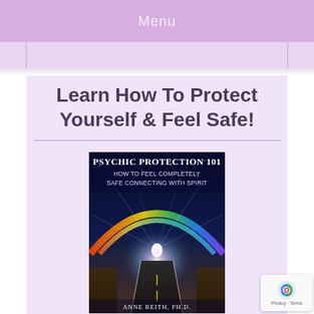Menu
Learn How To Protect Yourself & Feel Safe!
[Figure (photo): Book cover of 'Psychic Protection 101: How to Feel Completely Safe Connecting with Spirit' by Anne Reith, Ph.D. Features a rainbow over a road leading to a bright light with a starry sky background.]